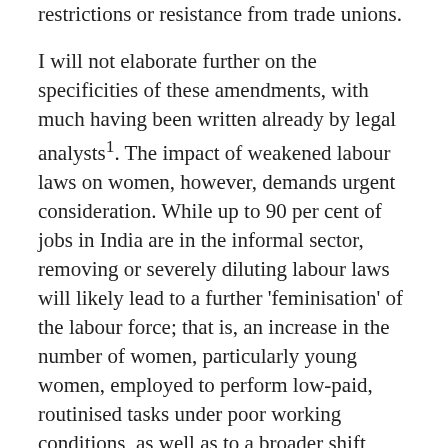restrictions or resistance from trade unions.
I will not elaborate further on the specificities of these amendments, with much having been written already by legal analysts¹. The impact of weakened labour laws on women, however, demands urgent consideration. While up to 90 per cent of jobs in India are in the informal sector, removing or severely diluting labour laws will likely lead to a further 'feminisation' of the labour force; that is, an increase in the number of women, particularly young women, employed to perform low-paid, routinised tasks under poor working conditions, as well as to a broader shift towards an even greater informalisation of work for both men and women. This is not a new phenomenon in the recent history of the transnational economy, with abundant social